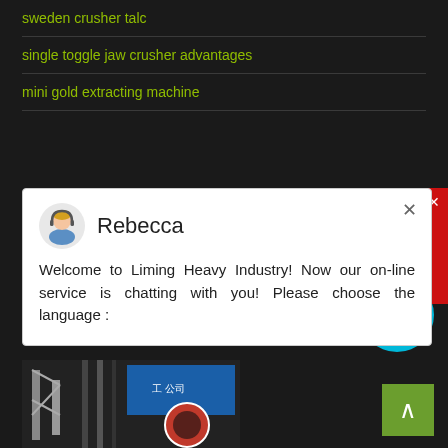sweden crusher talc
single toggle jaw crusher advantages
mini gold extracting machine
[Figure (screenshot): Chat popup from Rebecca at Liming Heavy Industry with message: Welcome to Liming Heavy Industry! Now our on-line service is chatting with you! Please choose the language :]
istanbul gold bullion wholesale
Libero Pretium Luctus
[Figure (photo): Industrial machinery thumbnail photo at bottom left]
[Figure (other): Cyan circle badge with number 1]
[Figure (other): Green back-to-top button with up arrow]